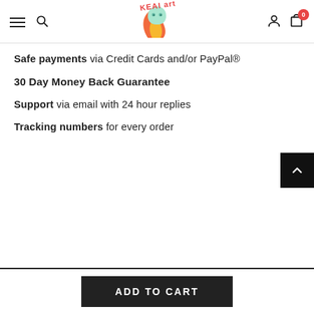KEAI art — navigation header with hamburger menu, search, logo, user icon, cart (0)
Safe payments via Credit Cards and/or PayPal®
30 Day Money Back Guarantee
Support via email with 24 hour replies
Tracking numbers for every order
ADD TO CART